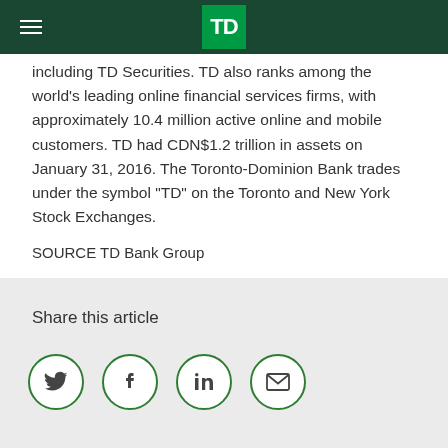TD Bank Group
including TD Securities. TD also ranks among the world's leading online financial services firms, with approximately 10.4 million active online and mobile customers. TD had CDN$1.2 trillion in assets on January 31, 2016. The Toronto-Dominion Bank trades under the symbol "TD" on the Toronto and New York Stock Exchanges.
SOURCE TD Bank Group
For further information: Dean Paddock, TD Bank Group, 403-294-3328, dean.paddock@td.com
Share this article
[Figure (other): Social media share icons: Twitter, Facebook, LinkedIn, Email — each in a green-outlined circle]